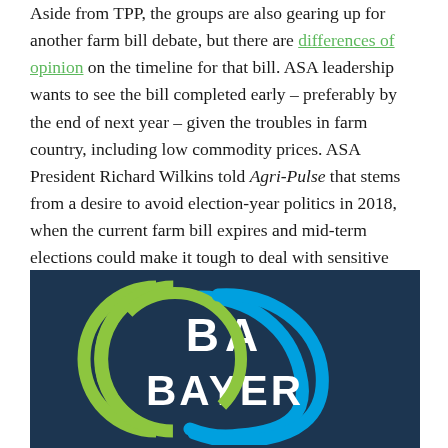Aside from TPP, the groups are also gearing up for another farm bill debate, but there are differences of opinion on the timeline for that bill. ASA leadership wants to see the bill completed early – preferably by the end of next year – given the troubles in farm country, including low commodity prices. ASA President Richard Wilkins told Agri-Pulse that stems from a desire to avoid election-year politics in 2018, when the current farm bill expires and mid-term elections could make it tough to deal with sensitive issues.
[Figure (logo): Bayer logo — white 'BA' and 'BAYER' text on dark navy background with green and blue circular arc design]